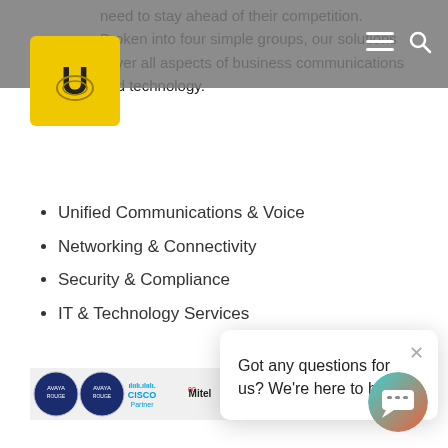need to stay ahead of their competition. Broken into four simple groups, our solutions cover all aspects of business communications and technology.
Unified Communications & Voice
Networking & Connectivity
Security & Compliance
IT & Technology Services
[Figure (logo): Partner logos bar including Cisco Partner, Mitel, and Crown Commercial logos]
[Figure (screenshot): Chat popup with text: Got any questions for us? We're here to help. and a close button]
[Figure (illustration): Teal/orange gradient chat button icon at bottom right]